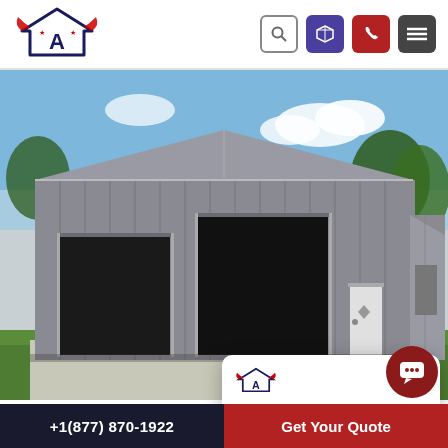[Figure (logo): American Metal Buildings logo — stylized house/garage shape with wings and letter A, red and navy blue]
[Figure (photo): Exterior photo of a large grey metal workshop building with two wide open garage doors and a side lean-to, green lawn, trees in background]
[Figure (screenshot): Chat popup widget showing American Metal Buildings logo and message: Welcome to American Metal Buildings do you have any questions? I'm happy to help.]
Johnstown Workshop Buildings
If you need space to store your tools or hobby
+1(877) 870-1922   Get Your Quote